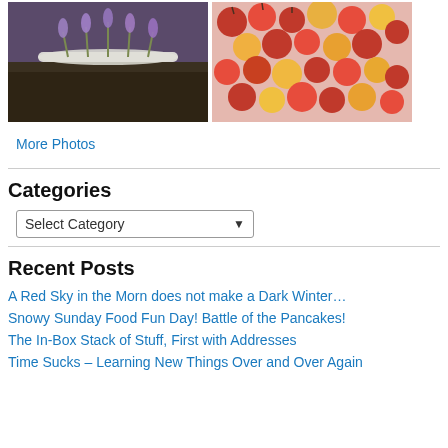[Figure (photo): Two photos side by side: left shows lavender sprigs on a white plate in a garden bed; right shows red and yellow cherries in a container.]
More Photos
Categories
Select Category
Recent Posts
A Red Sky in the Morn does not make a Dark Winter…
Snowy Sunday Food Fun Day! Battle of the Pancakes!
The In-Box Stack of Stuff, First with Addresses
Time Sucks – Learning New Things Over and Over Again